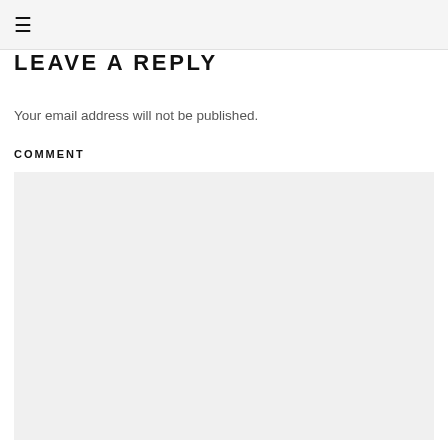≡
LEAVE A REPLY
Your email address will not be published.
COMMENT
[Figure (other): Empty comment text area with light gray background]